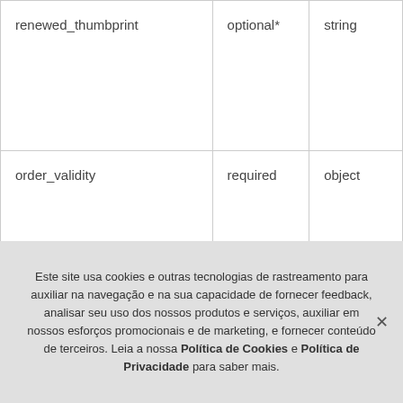| renewed_thumbprint | optional* | string |
| order_validity | required | object |
|  | * |  |
Este site usa cookies e outras tecnologias de rastreamento para auxiliar na navegação e na sua capacidade de fornecer feedback, analisar seu uso dos nossos produtos e serviços, auxiliar em nossos esforços promocionais e de marketing, e fornecer conteúdo de terceiros. Leia a nossa Política de Cookies e Política de Privacidade para saber mais.